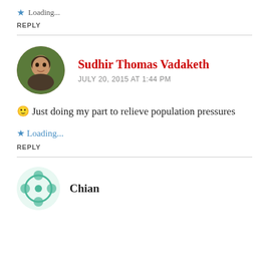Loading...
REPLY
Sudhir Thomas Vadaketh
JULY 20, 2015 AT 1:44 PM
🙂 Just doing my part to relieve population pressures
Loading...
REPLY
Chian